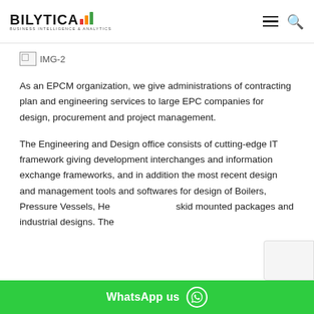BILYTICA BUSINESS INTELLIGENCE & ANALYTICS
[Figure (other): Broken image placeholder labeled IMG-2]
As an EPCM organization, we give administrations of contracting plan and engineering services to large EPC companies for design, procurement and project management.
The Engineering and Design office consists of cutting-edge IT framework giving development interchanges and information exchange frameworks, and in addition the most recent design and management tools and softwares for design of Boilers, Pressure Vessels, He... skid mounted packages and industrial designs. The